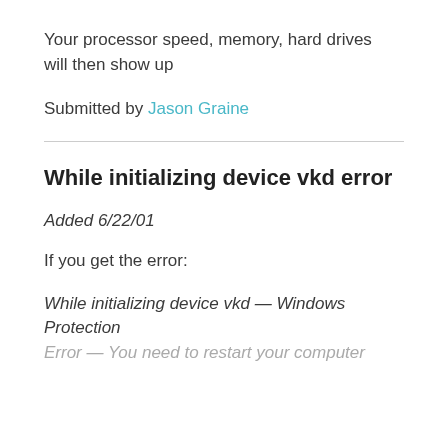Your processor speed, memory, hard drives will then show up
Submitted by Jason Graine
While initializing device vkd error
Added 6/22/01
If you get the error:
While initializing device vkd — Windows Protection Error — You need to restart your computer